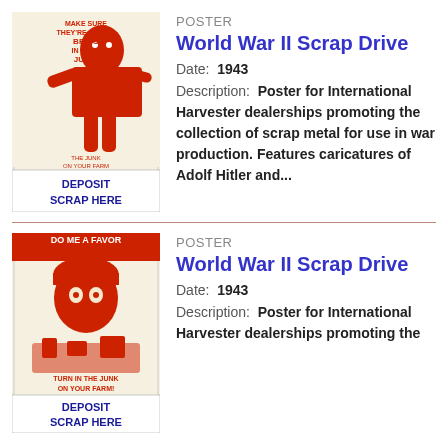[Figure (illustration): WWII scrap drive poster with text 'Make Sure They're Sunk – Bring In Your Junk!' and 'Deposit Scrap Here', featuring caricature art in red and white]
POSTER
World War II Scrap Drive
Date: 1943
Description: Poster for International Harvester dealerships promoting the collection of scrap metal for use in war production. Features caricatures of Adolf Hitler and...
[Figure (illustration): WWII scrap drive poster with text 'Do Me A Favor', 'Turn In The Junk On Your Farm!', and 'Deposit Scrap Here', featuring a soldier caricature in red and white]
POSTER
World War II Scrap Drive
Date: 1943
Description: Poster for International Harvester dealerships promoting the